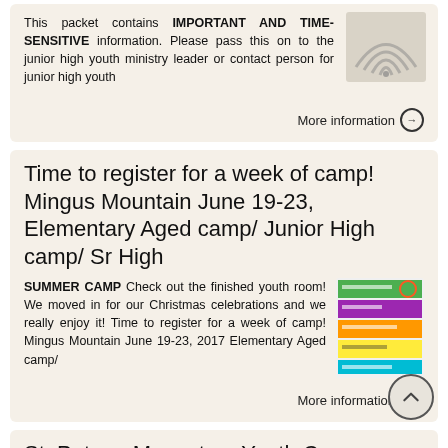This packet contains IMPORTANT AND TIME-SENSITIVE information. Please pass this on to the junior high youth ministry leader or contact person for junior high youth
More information →
Time to register for a week of camp! Mingus Mountain June 19-23, Elementary Aged camp/ Junior High camp/ Sr High
SUMMER CAMP Check out the finished youth room! We moved in for our Christmas celebrations and we really enjoy it! Time to register for a week of camp! Mingus Mountain June 19-23, 2017 Elementary Aged camp/
More information →
St. Peter s Monastery Youth Camp